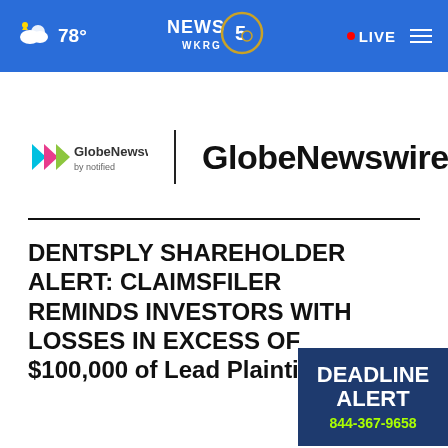NEWS 5 WKRG | 78° | LIVE
[Figure (logo): GlobeNewswire by notified logo with colorful play-button icon, vertical divider, and bold GlobeNewswire text]
DENTSPLY SHAREHOLDER ALERT: CLAIMSFILER REMINDS INVESTORS WITH LOSSES IN EXCESS OF $100,000 of Lead Plaintiff
[Figure (infographic): Deadline Alert banner in dark blue with text DEADLINE ALERT and phone number 844-367-9658]